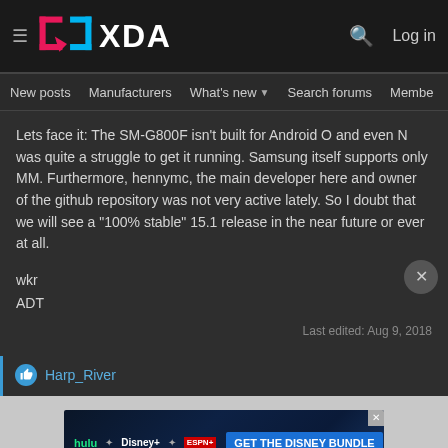XDA — Log in
New posts  Manufacturers  What's new  Search forums  Members  >
Lets face it: The SM-G800F isn't built for Android O and even N was quite a struggle to get it running. Samsung itself supports only MM. Furthermore, hennymc, the main developer here and owner of the github repository was not very active lately. So I doubt that we will see a "100% stable" 15.1 release in the near future or ever at all.
wkr
ADT
Last edited: Aug 9, 2018
Harp_River
[Figure (screenshot): Disney Bundle advertisement banner with Hulu, Disney+, and ESPN+ logos and 'GET THE DISNEY BUNDLE' call to action]
Guest